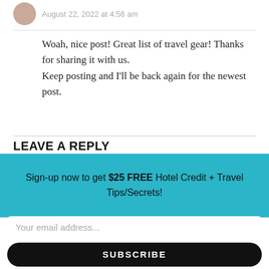August 22, 2022 at 4:56 am
Woah, nice post! Great list of travel gear! Thanks for sharing it with us.
Keep posting and I'll be back again for the newest post.
LEAVE A REPLY
Your email address will not be published. Required fields are marked *
Sign-up now to get $25 FREE Hotel Credit + Travel Tips/Secrets!
Your email address...
SUBSCRIBE